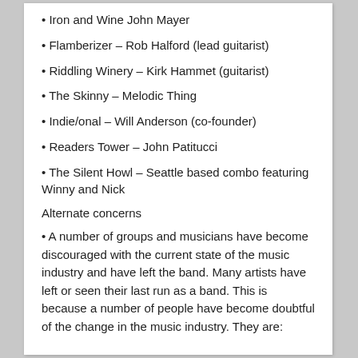• Iron and Wine John Mayer
• Flamberizer – Rob Halford (lead guitarist)
• Riddling Winery – Kirk Hammet (guitarist)
• The Skinny – Melodic Thing
• Indie/onal – Will Anderson (co-founder)
• Readers Tower – John Patitucci
• The Silent Howl – Seattle based combo featuring Winny and Nick
Alternate concerns
• A number of groups and musicians have become discouraged with the current state of the music industry and have left the band. Many artists have left or seen their last run as a band. This is because a number of people have become doubtful of the change in the music industry. They are: